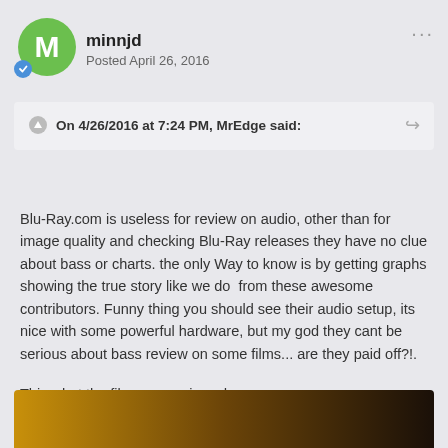minnjd
Posted April 26, 2016
On 4/26/2016 at 7:24 PM, MrEdge said:
Blu-Ray.com is useless for review on audio, other than for image quality and checking Blu-Ray releases they have no clue about bass or charts. the only Way to know is by getting graphs showing the true story like we do  from these awesome contributors. Funny thing you should see their audio setup, its nice with some powerful hardware, but my god they cant be serious about bass review on some films... are they paid off?!.
This what the films are reviewed on.
[Figure (photo): Partial view of what appears to be an audio/home theater setup room with warm amber/brown lighting]